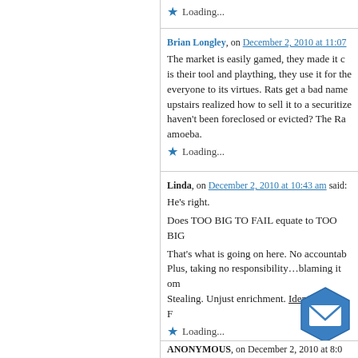Loading...
Brian Longley, on December 2, 2010 at 11:07
The market is easily gamed, they made it c... is their tool and plaything, they use it for the... everyone to its virtues. Rats get a bad name... upstairs realized how to sell it to a securitize... haven't been foreclosed or evicted? The Ra... amoeba.
Loading...
Linda, on December 2, 2010 at 10:43 am said:
He's right.
Does TOO BIG TO FAIL equate to TOO BIG...
That's what is going on here. No accountab... Plus, taking no responsibility…blaming it om... Stealing. Unjust enrichment. Identity theft. F...
Loading...
ANONYMOUS, on December 2, 2010 at 8:0...